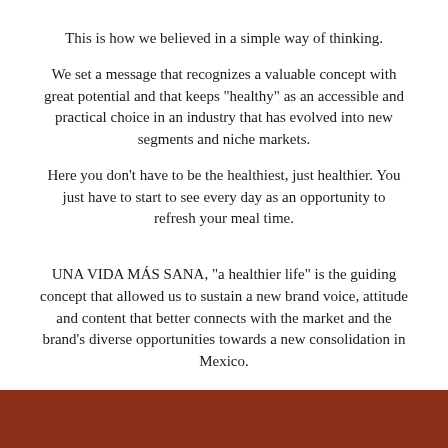This is how we believed in a simple way of thinking.
We set a message that recognizes a valuable concept with great potential and that keeps "healthy" as an accessible and practical choice in an industry that has evolved into new segments and niche markets.
Here you don't have to be the healthiest, just healthier. You just have to start to see every day as an opportunity to refresh your meal time.
UNA VIDA MÁS SANA, “a healthier life” is the guiding concept that allowed us to sustain a new brand voice, attitude and content that better connects with the market and the brand’s diverse opportunities towards a new consolidation in Mexico.